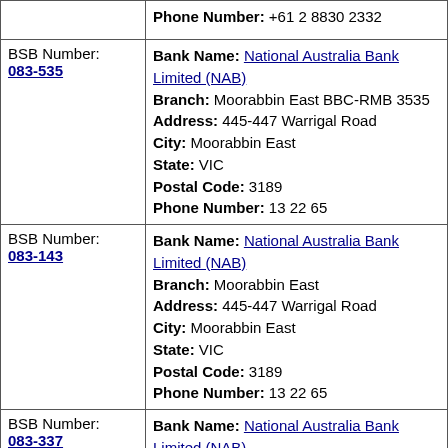| BSB Number | Details |
| --- | --- |
|  | Phone Number: +61 2 8830 2332 |
| BSB Number: 083-535 | Bank Name: National Australia Bank Limited (NAB)
Branch: Moorabbin East BBC-RMB 3535
Address: 445-447 Warrigal Road
City: Moorabbin East
State: VIC
Postal Code: 3189
Phone Number: 13 22 65 |
| BSB Number: 083-143 | Bank Name: National Australia Bank Limited (NAB)
Branch: Moorabbin East
Address: 445-447 Warrigal Road
City: Moorabbin East
State: VIC
Postal Code: 3189
Phone Number: 13 22 65 |
| BSB Number: 083-337 | Bank Name: National Australia Bank Limited (NAB)
Branch: Moorabbin East
Address: 445-447 Warrigal Road
City: Moorabbin East
State: VIC
Postal Code: 3189
Phone Number: 13 22 65 |